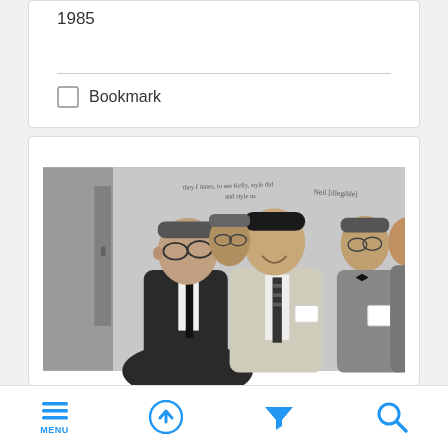1985
Bookmark
[Figure (photo): Black and white photograph of several men in suits at what appears to be a formal event or conference. Two men stand prominently in the foreground; one wears glasses and a dark suit with a black tie, the other wears a light suit with a patterned tie and a name tag. Additional men are visible in the background. Handwritten text appears at the top of the photo.]
MENU